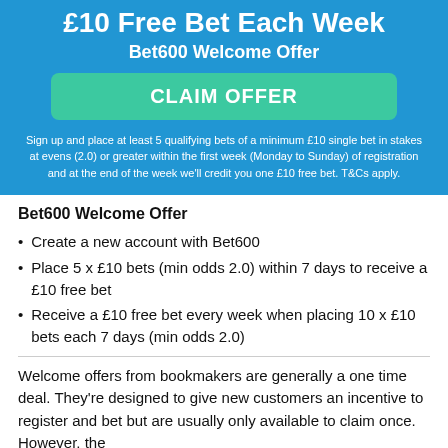£10 Free Bet Each Week
Bet600 Welcome Offer
[Figure (other): Green CLAIM OFFER button]
Sign up and place at least 5 qualifying bets of a minimum £10 single bet in stakes at evens (2.0) or greater within the first week (Monday to Sunday) of registration and at the end of the week we'll credit you one £10 free bet. T&Cs apply.
Bet600 Welcome Offer
Create a new account with Bet600
Place 5 x £10 bets (min odds 2.0) within 7 days to receive a £10 free bet
Receive a £10 free bet every week when placing 10 x £10 bets each 7 days (min odds 2.0)
Welcome offers from bookmakers are generally a one time deal. They're designed to give new customers an incentive to register and bet but are usually only available to claim once. However, the